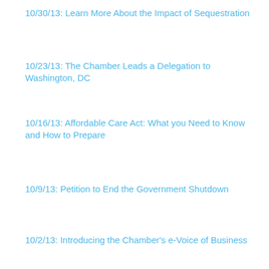10/30/13:  Learn More About the Impact of Sequestration
10/23/13:  The Chamber Leads a Delegation to Washington, DC
10/16/13:  Affordable Care Act: What you Need to Know and How to Prepare
10/9/13:  Petition to End the Government Shutdown
10/2/13:  Introducing the Chamber's e-Voice of Business